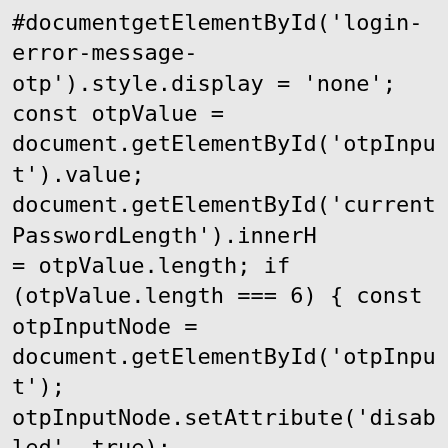#documentgetElementById('login-error-message-otp').style.display = 'none'; const otpValue = document.getElementById('otpInput').value; document.getElementById('currentPasswordLength').innerHTML = otpValue.length; if (otpValue.length === 6) { const otpInputNode = document.getElementById('otpInput'); otpInputNode.setAttribute('disabled', true); otpInputNode.classList.add("custom-disabled"); const data = { email: document.getElementById('userEmailForOtp').value, otp: otpValue }; postDataToServer(USER_API_URL+'verifyOTP', data) } }
// This function is called when someone finishes with the Login // Button. See the onlogin handler attached to it in the sample // code below. window.checkLoginState = function () {
try{ FB.getLoginStatus(function (response) { statusChangeCallback(response); }); }catch(ex){ statusChangeCallback();
}